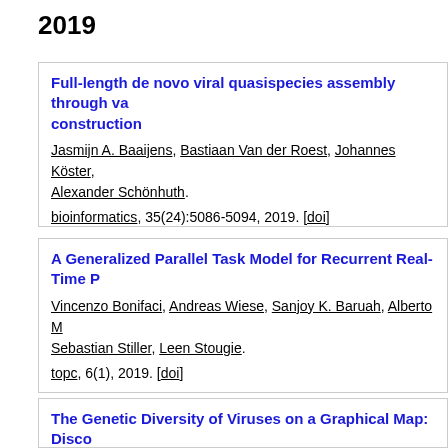2019
Full-length de novo viral quasispecies assembly through va... construction. Jasmijn A. Baaijens, Bastiaan Van der Roest, Johannes Köster, Alexander Schönhuth. bioinformatics, 35(24):5086-5094, 2019. [doi]
A Generalized Parallel Task Model for Recurrent Real-Time P... Vincenzo Bonifaci, Andreas Wiese, Sanjoy K. Baruah, Alberto M... Sebastian Stiller, Leen Stougie. topc, 6(1), 2019. [doi]
Fixed-Order Scheduling on Parallel Machines. Thomas Bosman, Dario Frascaria, Neil Olver, René Sitters, Lee... ipco 2019: 88-100 [doi]
The Genetic Diversity of Viruses on a Graphical Map: Disco...